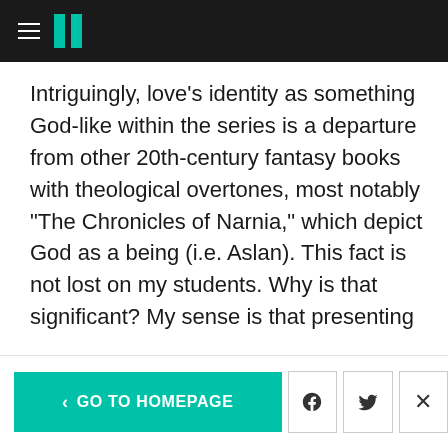HuffPost navigation header
Intriguingly, love's identity as something God-like within the series is a departure from other 20th-century fantasy books with theological overtones, most notably "The Chronicles of Narnia," which depict God as a being (i.e. Aslan). This fact is not lost on my students. Why is that significant? My sense is that presenting God as an abstract concept resonates for many non-Christians who live in an era of skepticism. In other words, to describe God like this tracks for contemporary seekers in our scientific age who shy away from
< GO TO HOMEPAGE | Facebook | Twitter | Close